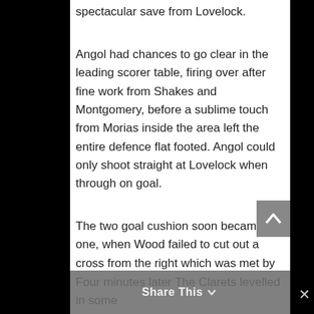spectacular save from Lovelock.
Angol had chances to go clear in the leading scorer table, firing over after fine work from Shakes and Montgomery, before a sublime touch from Morias inside the area left the entire defence flat footed. Angol could only shoot straight at Lovelock when through on goal.
The two goal cushion soon became one, when Wood failed to cut out a cross from the right which was met by the head of Rohdell Gordon. Hill miscued his goal line clearance and the striker stuck out a leg to force home another gifted goal, after 71 minutes.
Four minutes later The Clarets levelled in some